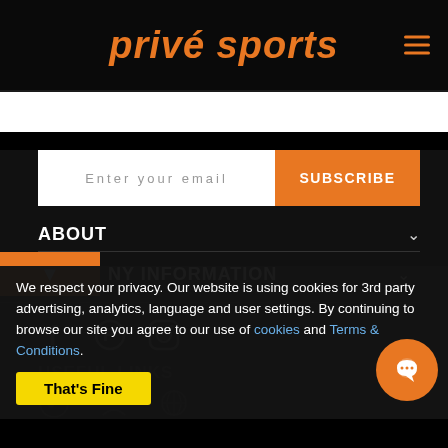Privé Sports
ABOUT
NY INFORMATION
[Figure (screenshot): Subscribe email input with orange SUBSCRIBE button]
USEFUL LINKS
We respect your privacy. Our website is using cookies for 3rd party advertising, analytics, language and user settings. By continuing to browse our site you agree to our use of cookies and Terms & Conditions.
[Figure (other): Social media icons: Facebook, Pinterest, Instagram]